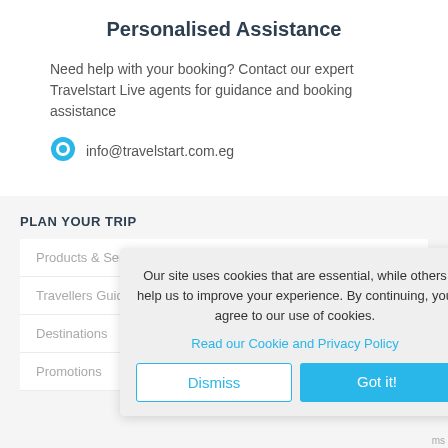Personalised Assistance
Need help with your booking? Contact our expert Travelstart Live agents for guidance and booking assistance
info@travelstart.com.eg
PLAN YOUR TRIP
Products & Ser...
Travellers Guid...
Destinations
Promotions
Our site uses cookies that are essential, while others help us to improve your experience. By continuing, you agree to our use of cookies.
Read our Cookie and Privacy Policy
Dismiss
Got it!